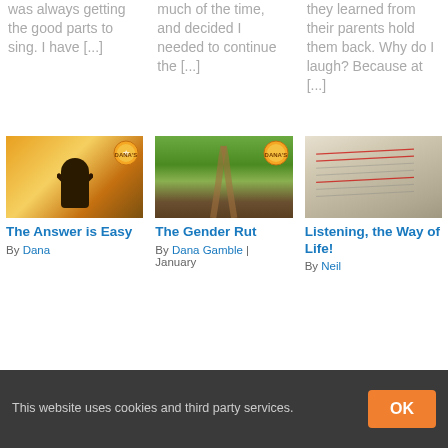was always getting the good parts to sing. I have [...]
much of the time, and decided I needed to continue the [...]
they learned from their parents hold them back. Why do I laugh? Because at [...]
[Figure (photo): Person with arms raised against a bright sunrise/sunset sky]
[Figure (photo): A dirt path through a green field with mountains in the background]
[Figure (photo): Close-up of an open book with text on pages]
The Answer is Easy
By Dana
The Gender Rut
By Dana Gamble | January
Listening, the Way of Life!
By Neil
This website uses cookies and third party services.